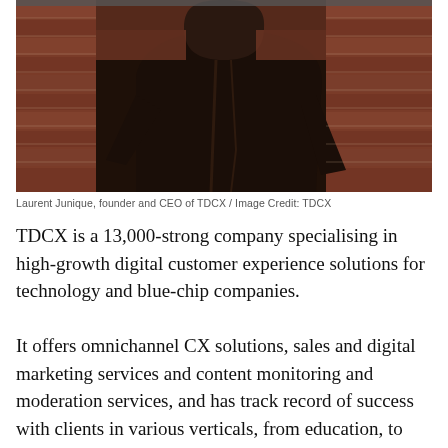[Figure (photo): Person wearing a dark jacket standing against a brick wall, photographed from behind/side angle. The jacket appears to be a dark brown or black color. Background is a red brick wall.]
Laurent Junique, founder and CEO of TDCX / Image Credit: TDCX
TDCX is a 13,000-strong company specialising in high-growth digital customer experience solutions for technology and blue-chip companies.
It offers omnichannel CX solutions, sales and digital marketing services and content monitoring and moderation services, and has track record of success with clients in various verticals, from education, to fintech, to e-commerce.